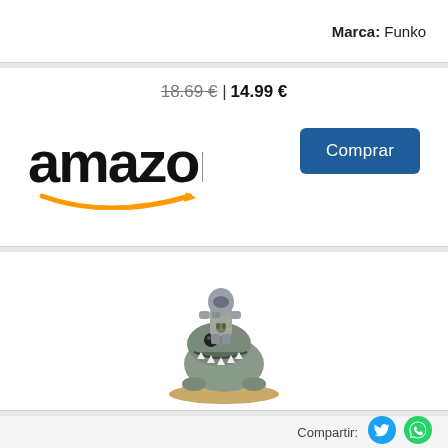Marca: Funko
18.69 € | 14.99 €
[Figure (logo): Amazon logo with orange smile arrow]
Comprar
[Figure (photo): Funko Pop figurine of The Mandalorian riding a creature (blurrg) on a sandy base]
Compartir:
[Figure (logo): Twitter bird icon (blue circle)]
[Figure (logo): WhatsApp icon (green circle)]